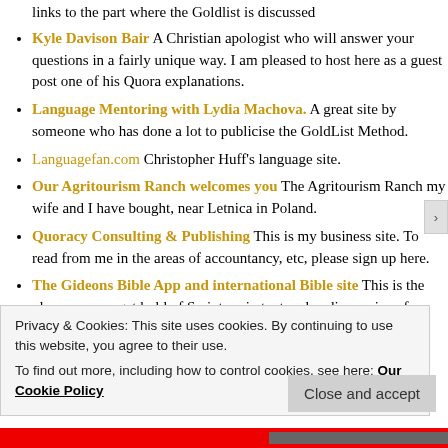links to the part where the Goldlist is discussed
Kyle Davison Bair A Christian apologist who will answer your questions in a fairly unique way. I am pleased to host here as a guest post one of his Quora explanations.
Language Mentoring with Lydia Machova. A great site by someone who has done a lot to publicise the GoldList Method.
Languagefan.com Christopher Huff's language site.
Our Agritourism Ranch welcomes you The Agritourism Ranch my wife and I have bought, near Letnica in Poland.
Quoracy Consulting & Publishing This is my business site. To read from me in the areas of accountancy, etc, please sign up here.
The Gideons Bible App and international Bible site This is the place you can get hold of Scripture in text and audio versions for over 1,300 languages. Ideal for
Privacy & Cookies: This site uses cookies. By continuing to use this website, you agree to their use.
To find out more, including how to control cookies, see here: Our Cookie Policy
Close and accept